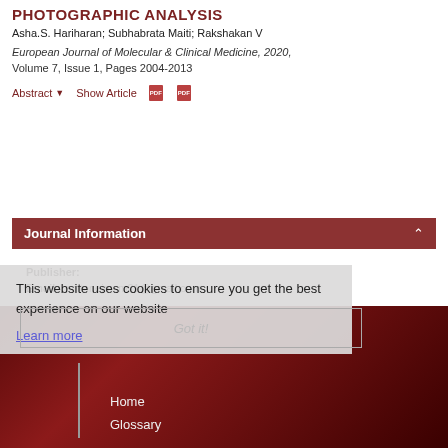PHOTOGRAPHIC ANALYSIS
Asha.S. Hariharan; Subhabrata Maiti; Rakshakan V
European Journal of Molecular & Clinical Medicine, 2020, Volume 7, Issue 1, Pages 2004-2013
Abstract ▾    Show Article    [PDF icons]
Journal Information
Publisher:
Email:  editor.ejmcm21@gmail.com
This website uses cookies to ensure you get the best experience on our website
Learn more
Got it!
Home
Glossary